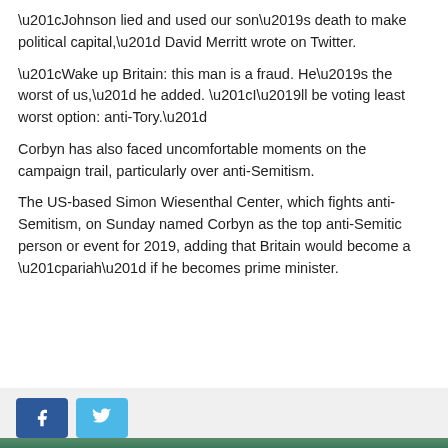“Johnson lied and used our son’s death to make political capital,” David Merritt wrote on Twitter.
“Wake up Britain: this man is a fraud. He’s the worst of us,” he added. “I’ll be voting least worst option: anti-Tory.”
Corbyn has also faced uncomfortable moments on the campaign trail, particularly over anti-Semitism.
The US-based Simon Wiesenthal Center, which fights anti-Semitism, on Sunday named Corbyn as the top anti-Semitic person or event for 2019, adding that Britain would become a “pariah” if he becomes prime minister.
[Figure (other): Social share buttons: Facebook and Twitter]
Tags: BORIS JOHNSON, BRITAIN, BRITAIN ELECTIONS, JEREMY CORBYN, THERESA MAY